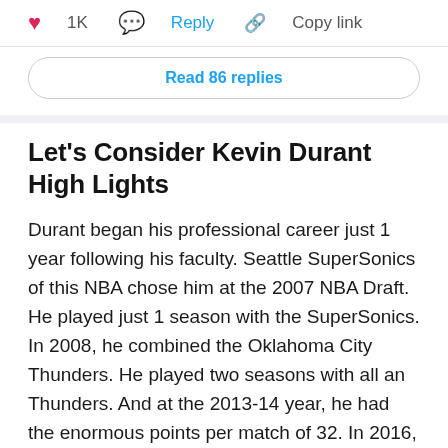❤ 1K  Reply  Copy link
Read 86 replies
Let's Consider Kevin Durant High Lights
Durant began his professional career just 1 year following his faculty. Seattle SuperSonics of this NBA chose him at the 2007 NBA Draft. He played just 1 season with the SuperSonics. In 2008, he combined the Oklahoma City Thunders. He played two seasons with all an Thunders. And at the 2013-14 year, he had the enormous points per match of 32. In 2016, Durant arrived to join with the Golden State Warriors. He's been playing with the group ever since that time. He's won three gold medals with all the national group.